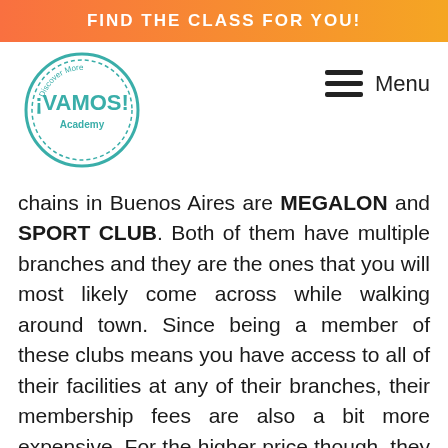FIND THE CLASS FOR YOU!
[Figure (logo): Vamos Academy circular logo with teal border and text 'Discover More ¡VAMOS! Academy']
Menu
chains in Buenos Aires are MEGALON and SPORT CLUB. Both of them have multiple branches and they are the ones that you will most likely come across while walking around town. Since being a member of these clubs means you have access to all of their facilities at any of their branches, their membership fees are also a bit more expensive. For the higher price though, they are very well equipped with a huge variety and newer machines, an impressive schedule of classes like spinning, yoga, pilates, cross fit, shadow boxing, dance aerobic and so on.